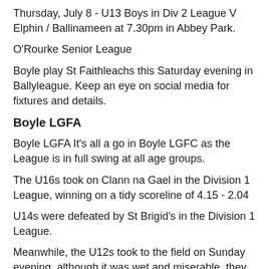Thursday, July 8 - U13 Boys in Div 2 League V Elphin / Ballinameen at 7.30pm in Abbey Park.
O'Rourke Senior League
Boyle play St Faithleachs this Saturday evening in Ballyleague. Keep an eye on social media for fixtures and details.
Boyle LGFA
Boyle LGFA It's all a go in Boyle LGFC as the League is in full swing at all age groups.
The U16s took on Clann na Gael in the Division 1 League, winning on a tidy scoreline of 4.15 - 2.04
U14s were defeated by St Brigid's in the Division 1 League.
Meanwhile, the U12s took to the field on Sunday evening, although it was wet and miserable, they made it worthwhile landing a good win against Four Roads in Division 2.
Our Intermediate Ladies were due to play Padraig Pearses